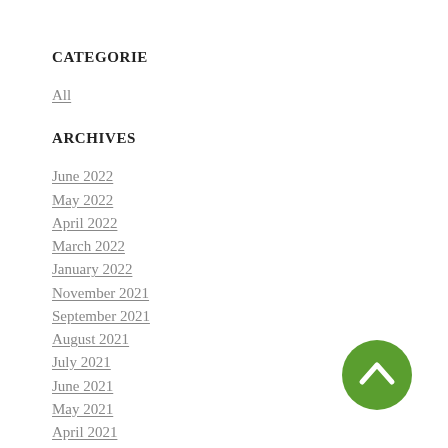CATEGORIE
All
ARCHIVES
June 2022
May 2022
April 2022
March 2022
January 2022
November 2021
September 2021
August 2021
July 2021
June 2021
May 2021
April 2021
February 2021
[Figure (illustration): Green circle with upward chevron arrow icon for back-to-top navigation]